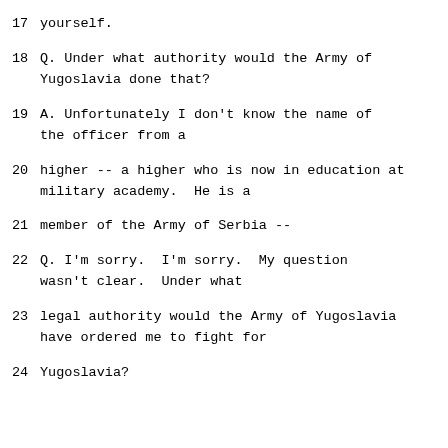17    yourself.
18        Q.    Under what authority would the Army of Yugoslavia done that?
19        A.    Unfortunately I don't know the name of the officer from a
20      higher -- a higher who is now in education at military academy.  He is a
21      member of the Army of Serbia --
22        Q.    I'm sorry.  I'm sorry.  My question wasn't clear.  Under what
23      legal authority would the Army of Yugoslavia have ordered me to fight for
24      Yugoslavia?